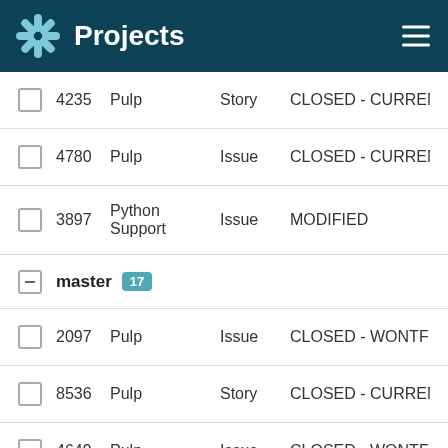Projects
4235  Pulp  Story  CLOSED - CURRENTRELEA
4780  Pulp  Issue  CLOSED - CURRENTRELEA
3897  Python Support  Issue  MODIFIED
master  17
2097  Pulp  Issue  CLOSED - WONTFIX
8536  Pulp  Story  CLOSED - CURRENTRELEA
4649  Pulp  Issue  CLOSED - WONTFIX